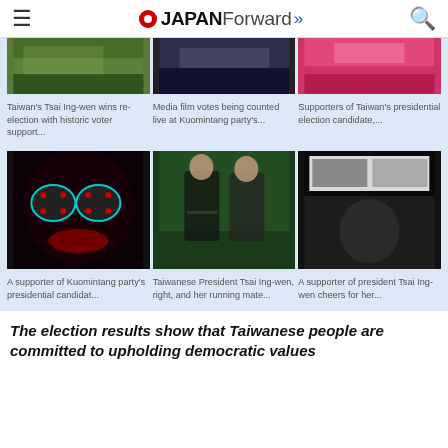JAPAN Forward
[Figure (photo): Three news photos side by side showing Taiwan election coverage: green banner scene, votes being counted at Kuomintang party, and supporters at presidential election]
Taiwan's Tsai Ing-wen wins re-election with historic voter support...
Media film votes being counted live at Kuomintang party's...
Supporters of Taiwan's presidential election candidate,...
[Figure (photo): Three news photos side by side: A supporter wearing decorative glasses at Kuomintang party rally, Taiwanese President Tsai Ing-wen right and her running mate, A supporter of president Tsai Ing-wen cheering]
A supporter of Kuomintang party's presidential candidat...
Taiwanese President Tsai Ing-wen, right, and her running mate...
A supporter of president Tsai Ing-wen cheers for her...
The election results show that Taiwanese people are committed to upholding democratic values